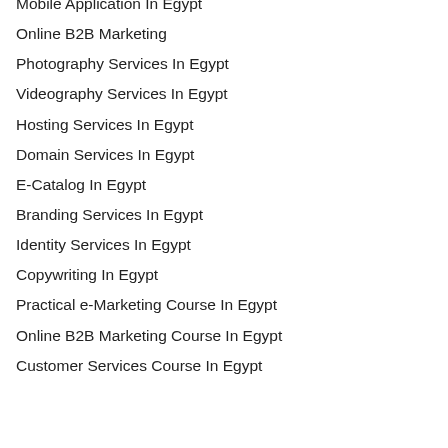Mobile Application In Egypt
Online B2B Marketing
Photography Services In Egypt
Videography Services In Egypt
Hosting Services In Egypt
Domain Services In Egypt
E-Catalog In Egypt
Branding Services In Egypt
Identity Services In Egypt
Copywriting In Egypt
Practical e-Marketing Course In Egypt
Online B2B Marketing Course In Egypt
Customer Services Course In Egypt